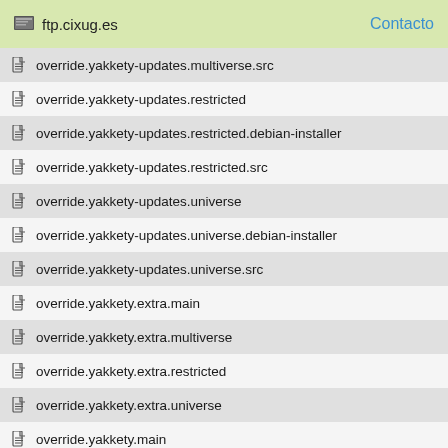ftp.cixug.es  Contacto
override.yakkety-updates.multiverse.src
override.yakkety-updates.restricted
override.yakkety-updates.restricted.debian-installer
override.yakkety-updates.restricted.src
override.yakkety-updates.universe
override.yakkety-updates.universe.debian-installer
override.yakkety-updates.universe.src
override.yakkety.extra.main
override.yakkety.extra.multiverse
override.yakkety.extra.restricted
override.yakkety.extra.universe
override.yakkety.main